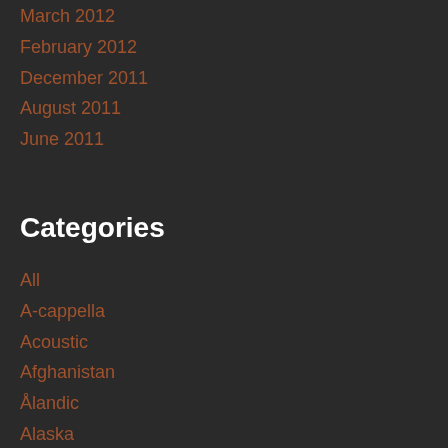March 2012
February 2012
December 2011
August 2011
June 2011
Categories
All
A-cappella
Acoustic
Afghanistan
Ålandic
Alaska
Albania
Album Chart
Album Reissue
Album Release
Album Stream
Album Trailer